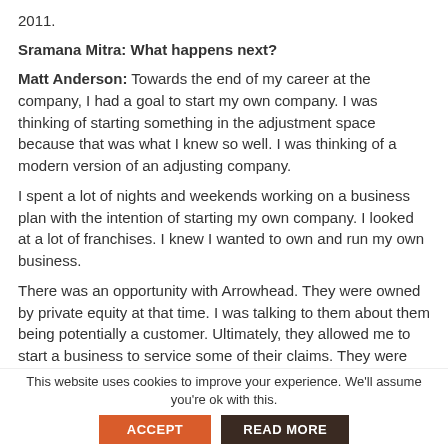2011.
Sramana Mitra: What happens next?
Matt Anderson: Towards the end of my career at the company, I had a goal to start my own company. I was thinking of starting something in the adjustment space because that was what I knew so well. I was thinking of a modern version of an adjusting company.
I spent a lot of nights and weekends working on a business plan with the intention of starting my own company. I looked at a lot of franchises. I knew I wanted to own and run my own business.
There was an opportunity with Arrowhead. They were owned by private equity at that time. I was talking to them about them being potentially a customer. Ultimately, they allowed me to start a business to service some of their claims. They were going to be my first client. That’s the biggest fear in starting a new business.
In that particular scenario, I didn’t have any equity. I had a profit share, but they gave me free rein to build this company. We were profitable starting in the third month. I did that for five years.
This website uses cookies to improve your experience. We’ll assume you’re ok with this.